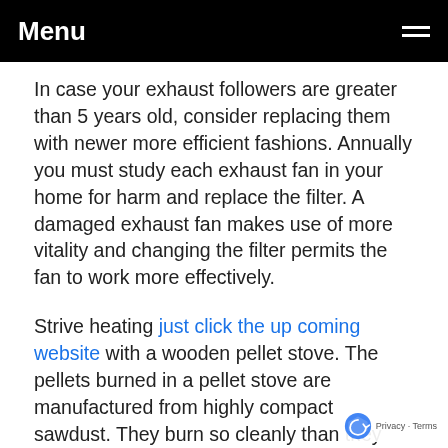Menu
In case your exhaust followers are greater than 5 years old, consider replacing them with newer more efficient fashions. Annually you must study each exhaust fan in your home for harm and replace the filter. A damaged exhaust fan makes use of more vitality and changing the filter permits the fan to work more effectively.
Strive heating just click the up coming website with a wooden pellet stove. The pellets burned in a pellet stove are manufactured from highly compact sawdust. They burn so cleanly than they are not required to get an EPA certification for emissions. Be click through the next page , nevertheless, that the price of the pellets